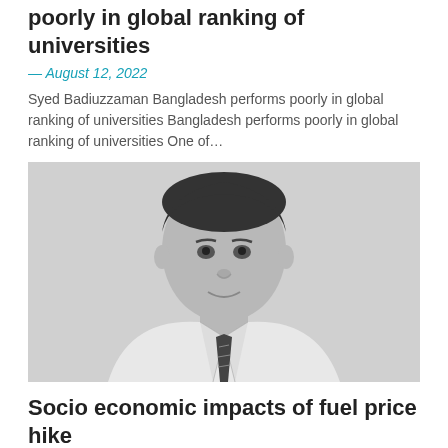poorly in global ranking of universities
— August 12, 2022
Syed Badiuzzaman Bangladesh performs poorly in global ranking of universities Bangladesh performs poorly in global ranking of universities One of…
[Figure (photo): Black and white headshot photo of a young man wearing a white shirt and striped tie, smiling slightly]
Socio economic impacts of fuel price hike
— August 11, 2022
The price of diesel and kerosene has been